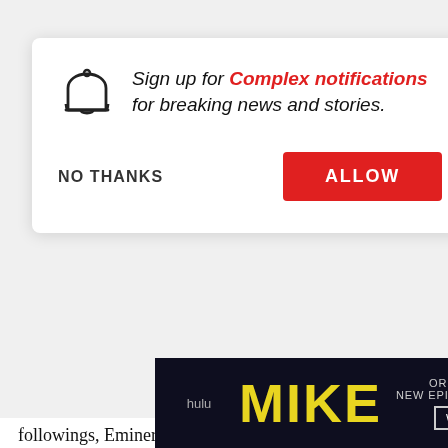[Figure (screenshot): Notification permission dialog with bell icon, text prompting to sign up for Complex notifications, NO THANKS and ALLOW buttons]
followings, Eminer... "It's definitely grea... a larger audience,... of that," Em says. "... signs with Shady t... we've always focu... the artist as an MC... that being the main thing we look for, high-level fund... he
[Figure (screenshot): 360 with Speedy Morman video thumbnail showing two men, with title: DJ Khaled On How To Get A Jay Z Verse, Obama Walking Out To All I Do Is Win & God Did]
[Figure (screenshot): Hulu advertisement banner for original series MIKE, new episodes Thursdays, Watch Now]